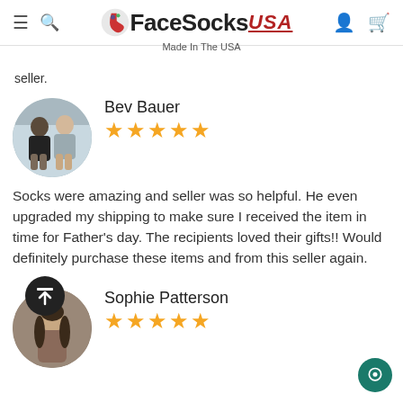FaceSocks USA — navigation bar with logo, search, account, cart icons; subtitle: Made In The USA
seller.
Bev Bauer
★★★★★
Socks were amazing and seller was so helpful. He even upgraded my shipping to make sure I received the item in time for Father's day. The recipients loved their gifts!! Would definitely purchase these items and from this seller again.
Sophie Patterson
★★★★★